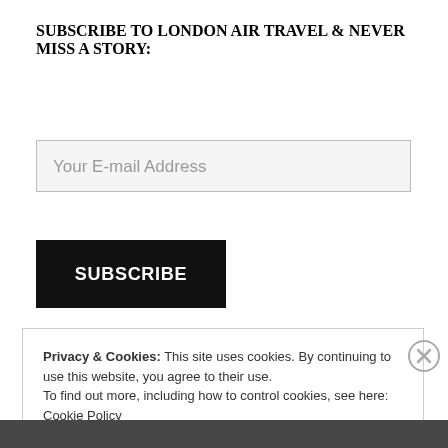SUBSCRIBE TO LONDON AIR TRAVEL & NEVER MISS A STORY:
Your E-mail Address
SUBSCRIBE
Privacy & Cookies: This site uses cookies. By continuing to use this website, you agree to their use.
To find out more, including how to control cookies, see here: Cookie Policy
Close and accept